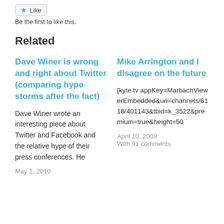[Figure (other): Like button with star icon]
Be the first to like this.
Related
Dave Winer is wrong and right about Twitter (comparing hype storms after the fact)
Dave Winer wrote an interesting piece about Twitter and Facebook and the relative hype of their press conferences. He
May 1, 2010
Mike Arrington and I disagree on the future
[kyte.tv appKey=MarbachViewerEmbedded&uri=channels/6118/401143&tbid=k_3522&premium=true&height=50
April 10, 2009
With 91 comments